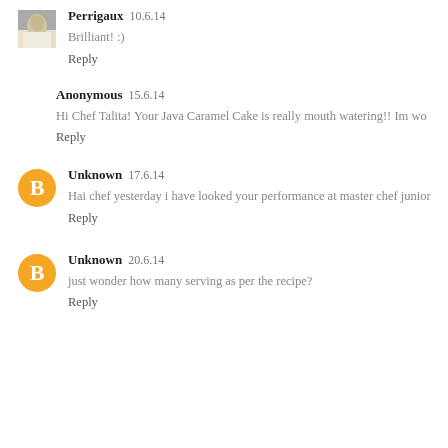Perrigaux  10.6.14
Brilliant! :)
Reply
Anonymous  15.6.14
Hi Chef Talita! Your Java Caramel Cake is really mouth watering!! Im wo
Reply
Unknown  17.6.14
Hai chef yesterday i have looked your performance at master chef junior
Reply
Unknown  20.6.14
just wonder how many serving as per the recipe?
Reply